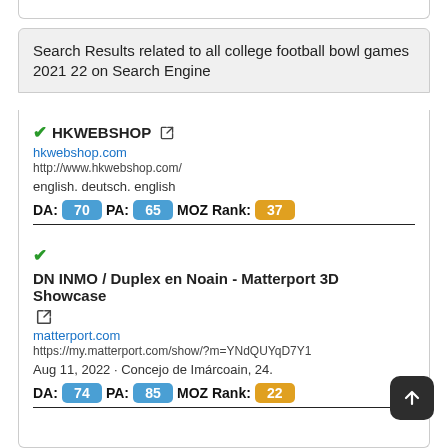Search Results related to all college football bowl games 2021 22 on Search Engine
HKWEBSHOP
hkwebshop.com
http://www.hkwebshop.com/
english. deutsch. english
DA: 70  PA: 65  MOZ Rank: 37
DN INMO / Duplex en Noain - Matterport 3D Showcase
matterport.com
https://my.matterport.com/show/?m=YNdQUYqD7Y1
Aug 11, 2022 · Concejo de Imárcoain, 24.
DA: 74  PA: 85  MOZ Rank: 22